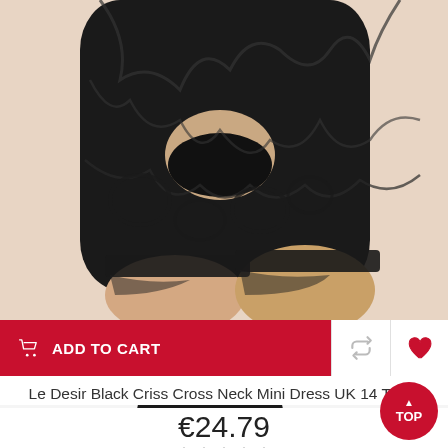[Figure (photo): Close-up photo of a model wearing a black lace lingerie bodysuit/mini dress, cropped at waist and thighs]
ADD TO CART
Le Desir Black Criss Cross Neck Mini Dress UK 14 To 20
€24.79
[Figure (photo): Photo of a brunette model wearing a black lace mini dress, visible from shoulders down]